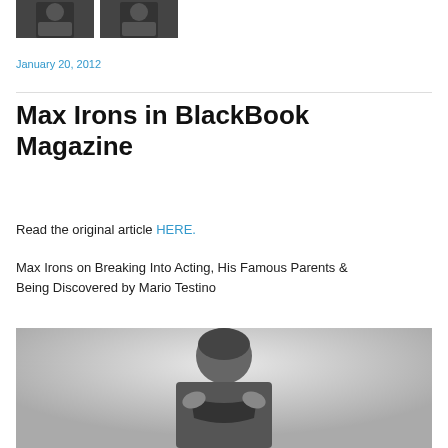[Figure (photo): Two small thumbnail photos of a person at top of page]
January 20, 2012
Max Irons in BlackBook Magazine
Read the original article HERE.
Max Irons on Breaking Into Acting, His Famous Parents & Being Discovered by Mario Testino
[Figure (photo): Black and white portrait photo of Max Irons looking at camera, hands near collar]